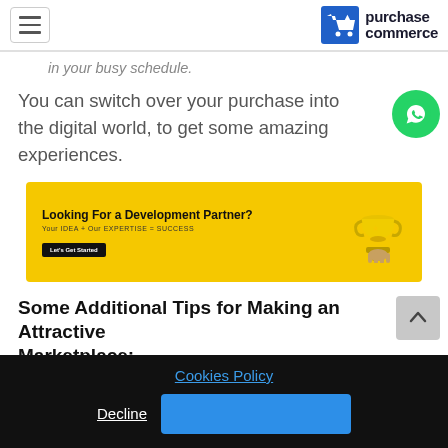purchase commerce
in your busy schedule.
You can switch over your purchase into the digital world, to get some amazing experiences.
[Figure (infographic): Yellow advertisement banner: 'Looking For a Development Partner? Your IDEA + Our EXPERTISE = SUCCESS' with a Let's Get Started button and a trophy illustration]
Some Additional Tips for Making an Attractive Marketplace:
Cookies Policy
Decline